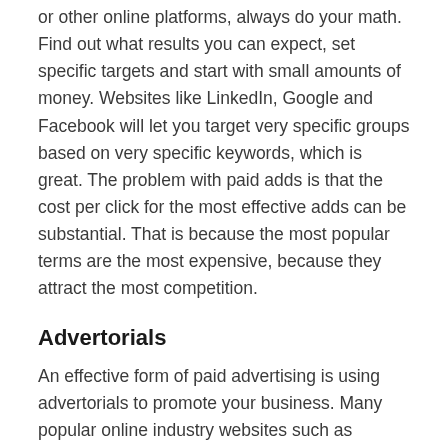or other online platforms, always do your math. Find out what results you can expect, set specific targets and start with small amounts of money. Websites like LinkedIn, Google and Facebook will let you target very specific groups based on very specific keywords, which is great. The problem with paid adds is that the cost per click for the most effective adds can be substantial. That is because the most popular terms are the most expensive, because they attract the most competition.
Advertorials
An effective form of paid advertising is using advertorials to promote your business. Many popular online industry websites such as Fashion United or country-specific websites such as Textilia (Netherlands) will let you publish paid articles on their website or on their newsletter. These articles can include photos of your company and products, or online videos, for